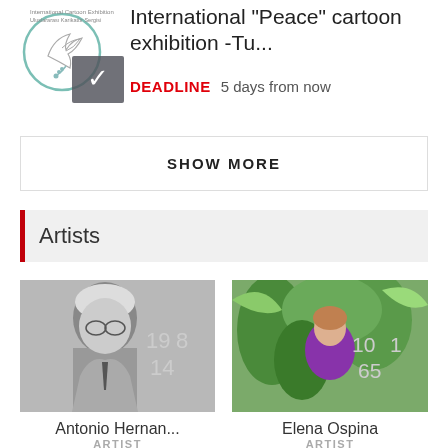[Figure (illustration): International Cartoon Exhibition logo with a dove inside a circle, plus a dark overlay with a white checkmark]
International "Peace" cartoon exhibition -Tu...
DEADLINE  5 days from now
SHOW MORE
Artists
[Figure (photo): Black and white portrait photo of Antonio Hernan... with stats 19 8 and 14 overlaid]
Antonio Hernan...
ARTIST
[Figure (photo): Color photo of Elena Ospina in front of a colorful tropical mural with stats 10 1 and 65 overlaid]
Elena Ospina
ARTIST